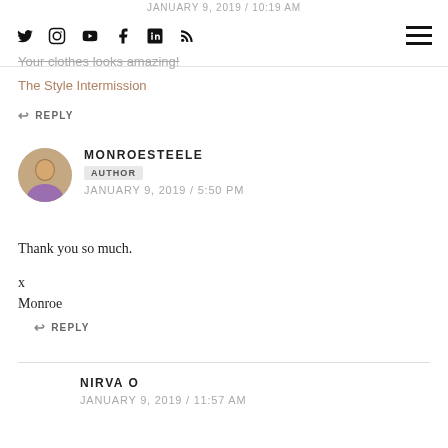JANUARY 9, 2019 / 10:19 AM — social icons and hamburger menu
Your clothes looks amazing!
The Style Intermission
↩ REPLY
MONROESTEELE AUTHOR JANUARY 9, 2019 / 5:50 PM
Thank you so much.

x
Monroe
↩ REPLY
NIRVA O JANUARY 9, 2019 / 11:57 AM